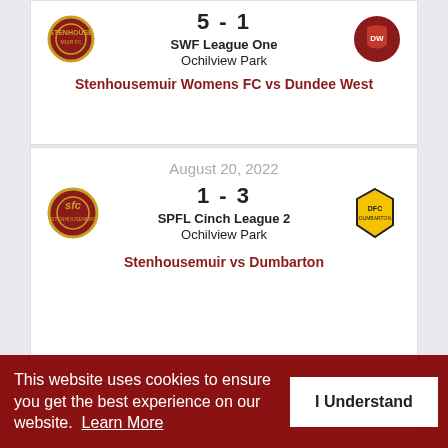5 - 1
SWF League One
Ochilview Park
Stenhousemuir Womens FC vs Dundee West
August 20, 2022
1 - 3
SPFL Cinch League 2
Ochilview Park
Stenhousemuir vs Dumbarton
View all matches
NEXT MEN'S MATCH
Stenhousemuir vs Stranraer
September 3, 2022
This website uses cookies to ensure you get the best experience on our website. Learn More
I Understand